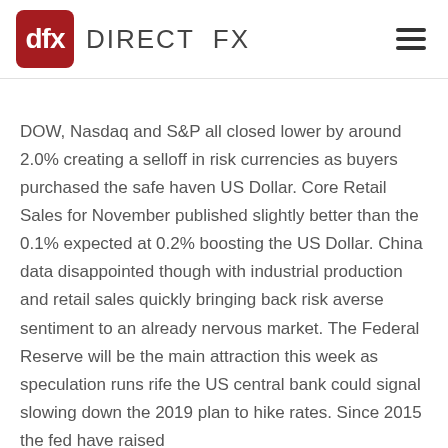DIRECT FX
DOW, Nasdaq and S&P all closed lower by around 2.0% creating a selloff in risk currencies as buyers purchased the safe haven US Dollar. Core Retail Sales for November published slightly better than the 0.1% expected at 0.2% boosting the US Dollar. China data disappointed though with industrial production and retail sales quickly bringing back risk averse sentiment to an already nervous market. The Federal Reserve will be the main attraction this week as speculation runs rife the US central bank could signal slowing down the 2019 plan to hike rates. Since 2015 the fed have raised